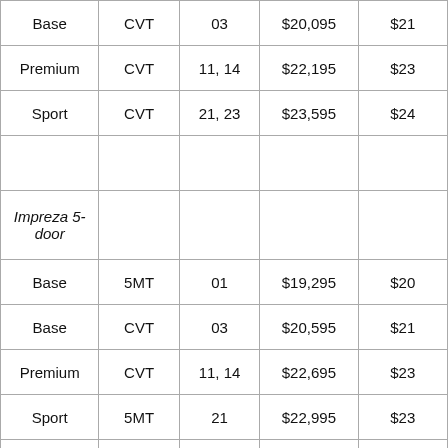| Trim | Trans | Code | MSRP | Invoice |
| --- | --- | --- | --- | --- |
| Base | CVT | 03 | $20,095 | $21... |
| Premium | CVT | 11, 14 | $22,195 | $23... |
| Sport | CVT | 21, 23 | $23,595 | $24... |
| Impreza 5-door |  |  |  |  |
| Base | 5MT | 01 | $19,295 | $20... |
| Base | CVT | 03 | $20,595 | $21... |
| Premium | CVT | 11, 14 | $22,695 | $23... |
| Sport | 5MT | 21 | $22,995 | $23... |
| Sport | CVT | 21, 23 | $24,095 | $25... |
| Limited | CVT | 31, 35 | $26,395 | $27... |